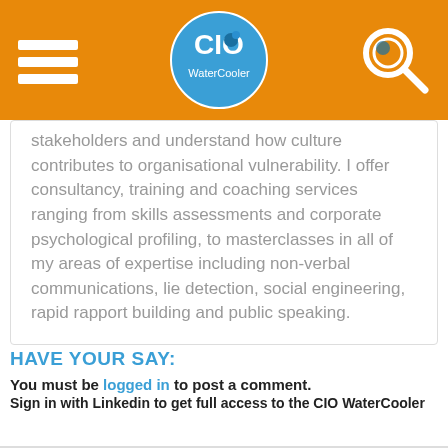CIO WaterCooler
stakeholders and understand how culture contributes to organisational vulnerability. I offer consultancy, training and coaching services ranging from skills assessments and corporate psychological profiling, to masterclasses in all of my areas of expertise including non-verbal communications, lie detection, social engineering, rapid rapport building and public speaking.
HAVE YOUR SAY:
You must be logged in to post a comment.
Sign in with Linkedin to get full access to the CIO WaterCooler